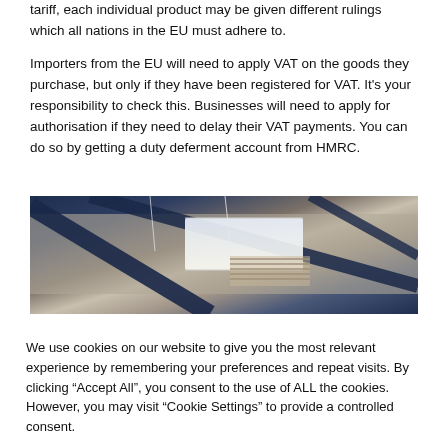tariff, each individual product may be given different rulings which all nations in the EU must adhere to.
Importers from the EU will need to apply VAT on the goods they purchase, but only if they have been registered for VAT. It's your responsibility to check this. Businesses will need to apply for authorisation if they need to delay their VAT payments. You can do so by getting a duty deferment account from HMRC.
[Figure (photo): Interior photograph looking up at a warehouse or industrial facility ceiling with metal beams and a skylight or fluorescent light visible.]
We use cookies on our website to give you the most relevant experience by remembering your preferences and repeat visits. By clicking "Accept All", you consent to the use of ALL the cookies. However, you may visit "Cookie Settings" to provide a controlled consent.